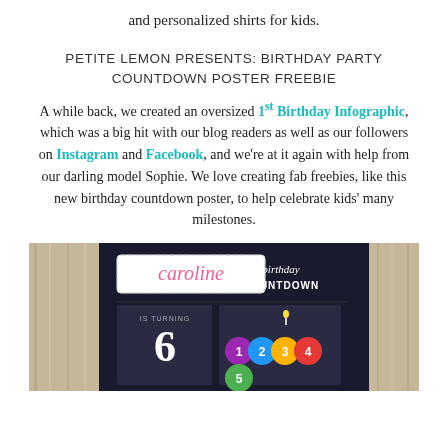and personalized shirts for kids.
PETITE LEMON PRESENTS: BIRTHDAY PARTY COUNTDOWN POSTER FREEBIE
A while back, we created an oversized 1st Birthday Infographic, which was a big hit with our blog readers as well as our followers on Instagram and Facebook, and we're at it again with help from our darling model Sophie. We love creating fab freebies, like this new birthday countdown poster, to help celebrate kids' many milestones.
[Figure (photo): Birthday countdown poster for 'caroline' showing the child is turning 6, with colorful balloon numbers 1-5 on a dark background, displayed on a wooden surface.]